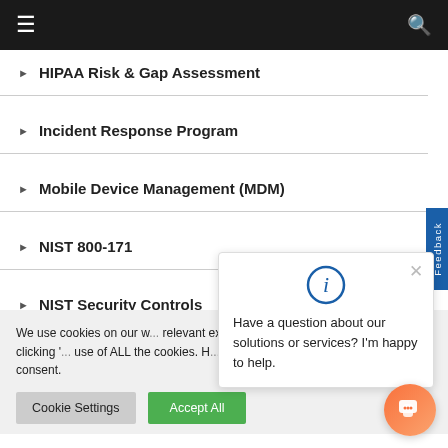Navigation menu bar with hamburger icon and search icon
HIPAA Risk & Gap Assessment
Incident Response Program
Mobile Device Management (MDM)
NIST 800-171
NIST Security Controls
We use cookies on our w... relevant experience by re... repeat visits. By clicking '... use of ALL the cookies. H... Settings" to provide a controlled consent.
Have a question about our solutions or services? I'm happy to help.
[Figure (infographic): Info icon circle with italic i, blue outlined circle]
[Figure (infographic): Chat bubble button - orange/gradient circle with white chat icon]